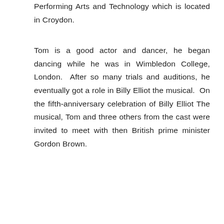Performing Arts and Technology which is located in Croydon.
Tom is a good actor and dancer, he began dancing while he was in Wimbledon College, London. After so many trials and auditions, he eventually got a role in Billy Elliot the musical. On the fifth-anniversary celebration of Billy Elliot The musical, Tom and three others from the cast were invited to meet with then British prime minister Gordon Brown.